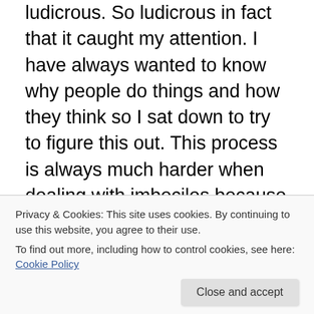ludicrous. So ludicrous in fact that it caught my attention. I have always wanted to know why people do things and how they think so I sat down to try to figure this out. This process is always much harder when dealing with imbeciles because they follow no logical thought cascades. However. I believe I am on to something so here it is.
It takes a certain amount of courage to speak in public. If you have ever stood up to speak in front of a group of strangers you might know the feeling. So. The controllers of the mainstream media hire talking heads to do what
Privacy & Cookies: This site uses cookies. By continuing to use this website, you agree to their use.
To find out more, including how to control cookies, see here: Cookie Policy